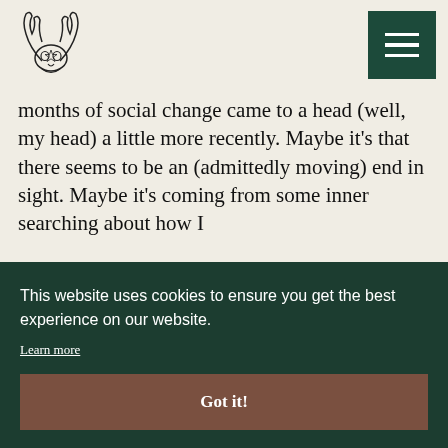[Figure (logo): Deer skull with antlers logo illustration, drawn in black line art style]
months of social change came to a head (well, my head) a little more recently. Maybe it's that there seems to be an (admittedly moving) end in sight. Maybe it's coming from some inner searching about how I [...]
This website uses cookies to ensure you get the best experience on our website.
Learn more
Got it!